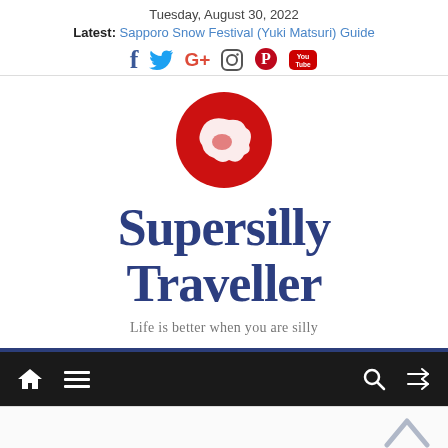Tuesday, August 30, 2022
Latest: Sapporo Snow Festival (Yuki Matsuri) Guide
[Figure (logo): Social media icons: Facebook, Twitter, Google+, Instagram, Pinterest, YouTube]
[Figure (logo): Supersilly Traveller globe logo — red circle with white map silhouette]
Supersilly Traveller
Life is better when you are silly
[Figure (screenshot): Navigation bar with home icon, hamburger menu, search icon, and shuffle/random icon on dark background]
[Figure (other): Bottom area with upward chevron arrow in light blue/grey]